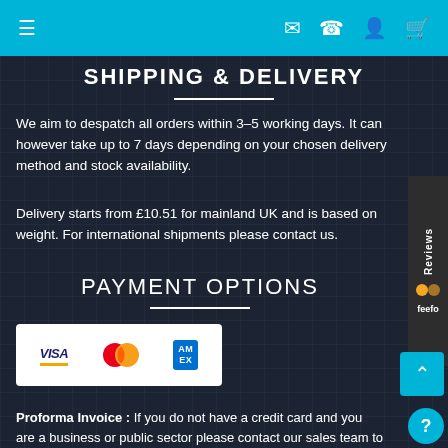Navigation bar with menu, email, phone, account, and basket icons
SHIPPING & DELIVERY
We aim to despatch all orders within 3–5 working days. It can however take up to 7 days depending on your chosen delivery method and stock availability.
Delivery starts from £10.51 for mainland UK and is based on weight. For international shipments please contact us.
PAYMENT OPTIONS
[Figure (logo): Payment card logos: Visa, Mastercard, American Express on white background]
Proforma Invoice : If you do not have a credit card and you are a business or public sector please contact our sales team to place an order eshop@signbox.co.uk